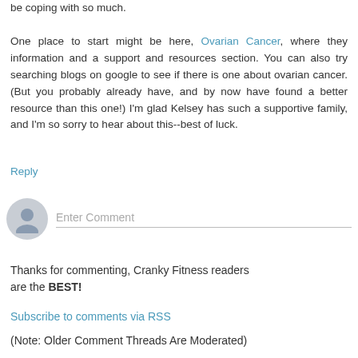be coping with so much. One place to start might be here, Ovarian Cancer, where they information and a support and resources section. You can also try searching blogs on google to see if there is one about ovarian cancer. (But you probably already have, and by now have found a better resource than this one!) I'm glad Kelsey has such a supportive family, and I'm so sorry to hear about this--best of luck.
Reply
[Figure (illustration): Generic user avatar icon - grey circular silhouette of a person]
Enter Comment
Thanks for commenting, Cranky Fitness readers are the BEST!
Subscribe to comments via RSS
(Note: Older Comment Threads Are Moderated)